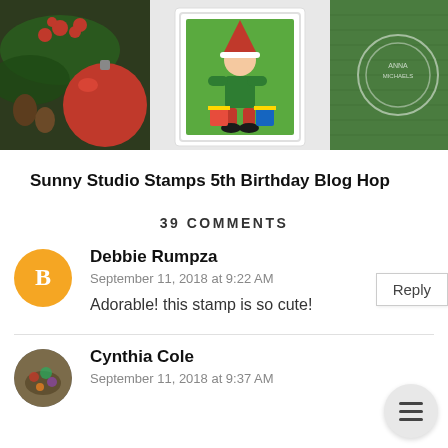[Figure (photo): Blog header photo showing Christmas decorations: red berries, a large red glitter ornament, pine cones, greenery on the left; a handmade card with an elf character holding gifts in the center; green knit texture on the right with a circular watermark/logo overlay.]
Sunny Studio Stamps 5th Birthday Blog Hop
39 COMMENTS
Debbie Rumpza
September 11, 2018 at 9:22 AM
Adorable! this stamp is so cute!
Cynthia Cole
September 11, 2018 at 9:37 AM